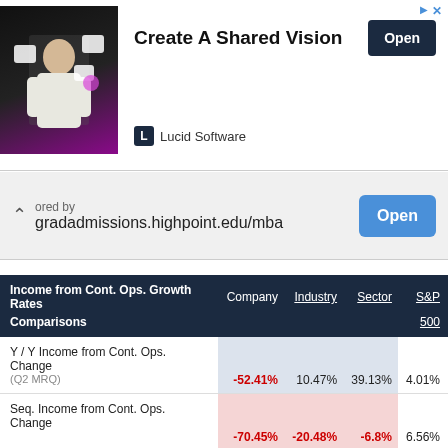[Figure (screenshot): Advertisement banner: Lucid Software 'Create A Shared Vision' with Open button]
[Figure (screenshot): Second advertisement banner: gradadmissions.highpoint.edu/mba with Open button]
| Income from Cont. Ops. Growth Rates | Company | Industry | Sector | S&P 500 |
| --- | --- | --- | --- | --- |
| Y / Y Income from Cont. Ops. Change (Q2 MRQ) | -52.41% | 10.47% | 39.13% | 4.01% |
| Seq. Income from Cont. Ops. Change | -70.45% | -20.48% | -6.8% | 6.56% |